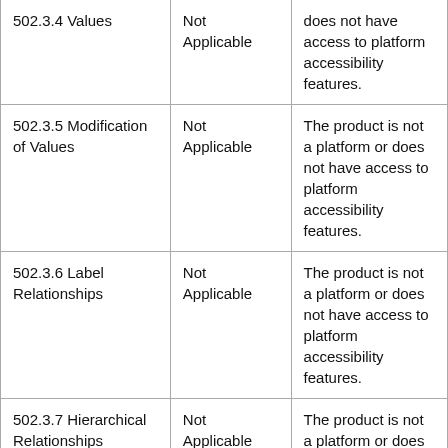| 502.3.4 Values | Not Applicable | does not have access to platform accessibility features. |
| 502.3.5 Modification of Values | Not Applicable | The product is not a platform or does not have access to platform accessibility features. |
| 502.3.6 Label Relationships | Not Applicable | The product is not a platform or does not have access to platform accessibility features. |
| 502.3.7 Hierarchical Relationships | Not Applicable | The product is not a platform or does not have access |